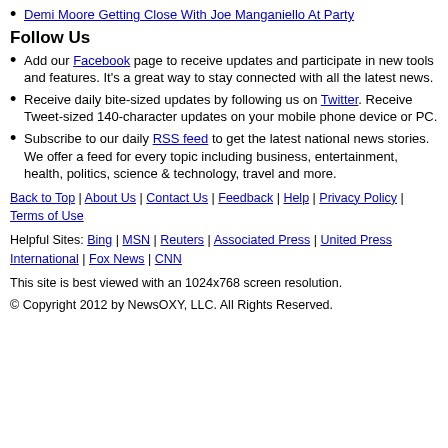Demi Moore Getting Close With Joe Manganiello At Party
Follow Us
Add our Facebook page to receive updates and participate in new tools and features. It's a great way to stay connected with all the latest news.
Receive daily bite-sized updates by following us on Twitter. Receive Tweet-sized 140-character updates on your mobile phone device or PC.
Subscribe to our daily RSS feed to get the latest national news stories. We offer a feed for every topic including business, entertainment, health, politics, science & technology, travel and more.
Back to Top | About Us | Contact Us | Feedback | Help | Privacy Policy | Terms of Use
Helpful Sites: Bing | MSN | Reuters | Associated Press | United Press International | Fox News | CNN
This site is best viewed with an 1024x768 screen resolution.
© Copyright 2012 by NewsOXY, LLC. All Rights Reserved.